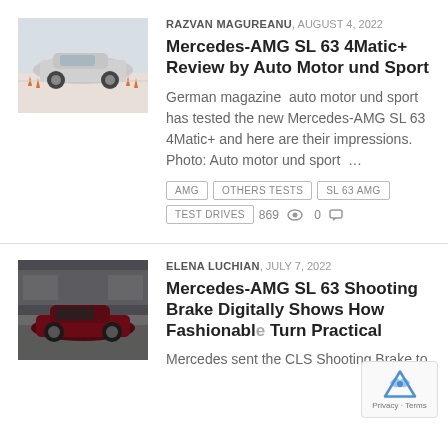[Figure (photo): Silver Mercedes-AMG SL 63 car driving on track with orange cones]
RAZVAN MAGUREANU, AUGUST 4, 2022
Mercedes-AMG SL 63 4Matic+ Review by Auto Motor und Sport
German magazine  auto motor und sport has tested the new Mercedes-AMG SL 63 4Matic+ and here are their impressions. Photo: Auto motor und sport  …
AMG
OTHERS TESTS
SL 63 AMG
TEST DRIVES
869 👁 0 💬
[Figure (photo): Dark red Mercedes-AMG SL 63 car parked in front of a building]
ELENA LUCHIAN, JULY 7, 2022
Mercedes-AMG SL 63 Shooting Brake Digitally Shows How Fashionable Turn Practical
Mercedes sent the CLS Shooting Brake to